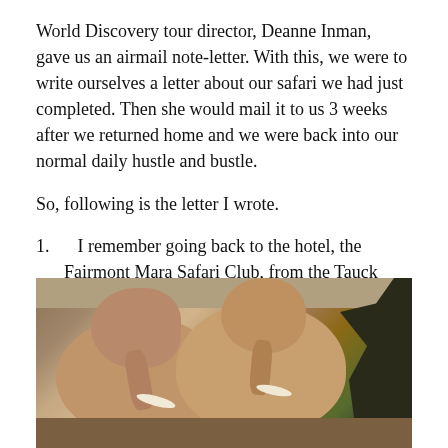World Discovery tour director, Deanne Inman,  gave us an airmail note-letter. With this, we were to write ourselves a letter about our safari we had just completed. Then she would mail it to us 3 weeks after we returned home and we were back into our normal daily hustle and bustle.
So, following is the letter I wrote.
1.   I remember going back to the hotel, the Fairmont Mara Safari Club, from the Tauck World Discovery Farewell Cocktail Party in the bush, and the only thing on the road was 5 elephants.
[Figure (photo): Photo of elephants on a road in the African bush, with acacia trees in the background. Multiple elephants visible, earthy brown tones, savanna environment.]